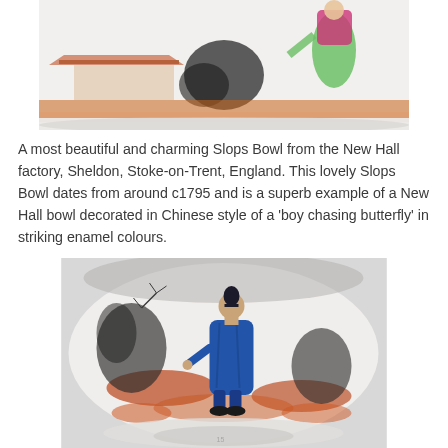[Figure (photo): Top portion of a New Hall Slops Bowl showing Chinese-style painted decoration with figures in colourful enamel, including a figure in green and pink robes, and architectural elements, on a white porcelain bowl.]
A most beautiful and charming Slops Bowl from the New Hall factory, Sheldon, Stoke-on-Trent, England. This lovely Slops Bowl dates from around c1795 and is a superb example of a New Hall bowl decorated in Chinese style of a 'boy chasing butterfly' in striking enamel colours.
[Figure (photo): Bottom view of the New Hall Slops Bowl showing Chinese-style 'boy chasing butterfly' decoration with a figure in blue robes standing in a landscape with orange-red earth tones, black foliage, on white porcelain.]